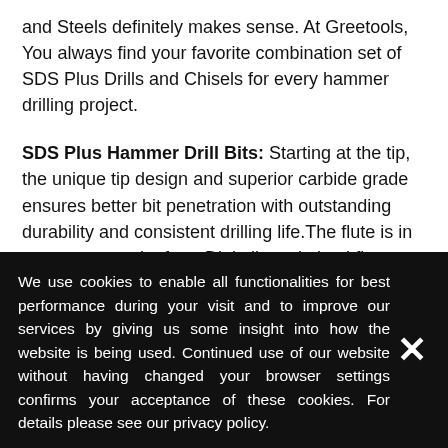and Steels definitely makes sense. At Greetools, You always find your favorite combination set of SDS Plus Drills and Chisels for every hammer drilling project.
SDS Plus Hammer Drill Bits: Starting at the tip, the unique tip design and superior carbide grade ensures better bit penetration with outstanding durability and consistent drilling life.The flute is in our eyes a work of art. Digitally optimized flute ensures optimal waste removal resulting in cleaner, more accurate drill holes, Shoot sandblasting finish which hardens the surface of the bit and also helps to eliminate stress fractures. Fully hardened chrome-alloy
We use cookies to enable all functionalities for best performance during your visit and to improve our services by giving us some insight into how the website is being used. Continued use of our website without having changed your browser settings confirms your acceptance of these cookies. For details please see our privacy policy.